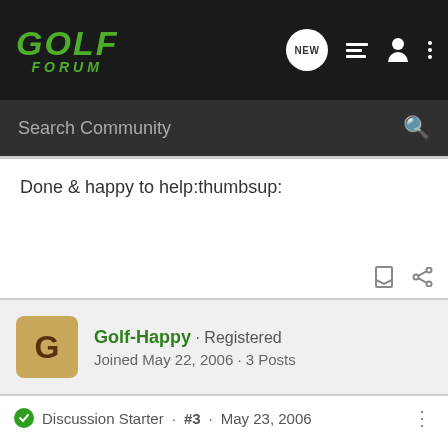GOLF FORUM
Done & happy to help:thumbsup:
Golf-Happy · Registered
Joined May 22, 2006 · 3 Posts
Discussion Starter · #3 · May 23, 2006
Thanks, Spider John! I have sent you a private message asking